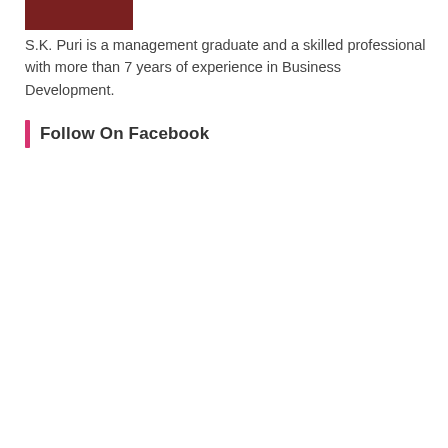[Figure (photo): Partial cropped photo at top of page, mostly dark reddish tones, likely a portrait photo cut off at the top]
S.K. Puri is a management graduate and a skilled professional with more than 7 years of experience in Business Development.
Follow On Facebook